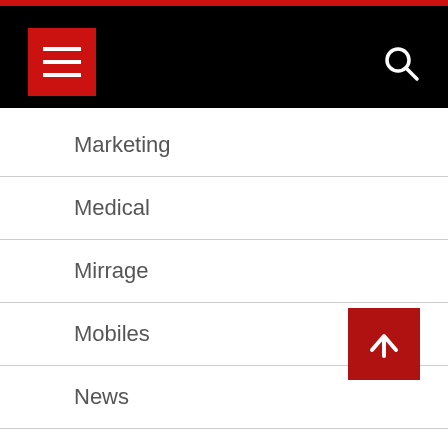Navigation menu header with hamburger icon and search icon
Marketing
Medical
Mirrage
Mobiles
News
Science
Software
Sports
Technology